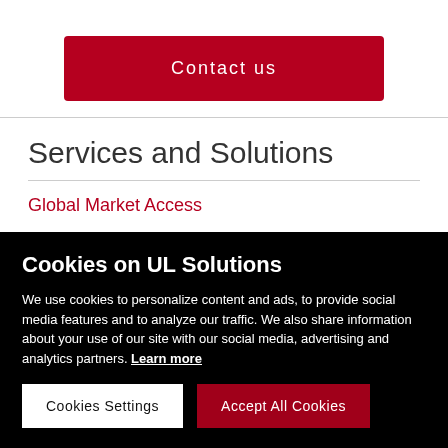Contact us
Services and Solutions
Global Market Access
Hazardous Locations
Cookies on UL Solutions
We use cookies to personalize content and ads, to provide social media features and to analyze our traffic. We also share information about your use of our site with our social media, advertising and analytics partners. Learn more
Cookies Settings
Accept All Cookies